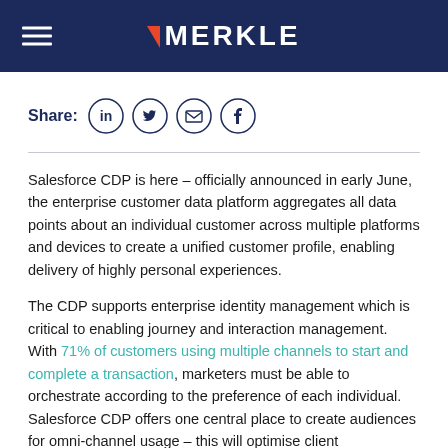MERKLE
Share:
Salesforce CDP is here – officially announced in early June, the enterprise customer data platform aggregates all data points about an individual customer across multiple platforms and devices to create a unified customer profile, enabling delivery of highly personal experiences.
The CDP supports enterprise identity management which is critical to enabling journey and interaction management. With 71% of customers using multiple channels to start and complete a transaction, marketers must be able to orchestrate according to the preference of each individual. Salesforce CDP offers one central place to create audiences for omni-channel usage – this will optimise client